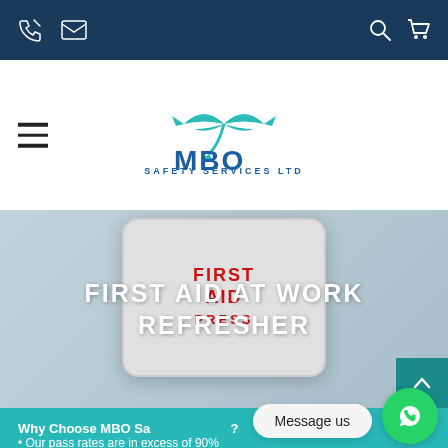MBO Safety Services Ltd - navigation bar with phone, email, search, cart icons
[Figure (logo): MBO Safety Services Ltd logo with teal fish/arrow graphic above bold blue MBO text]
[Figure (photo): Hero image showing a white first aid metal tin box on light blue background with overlaid text FIRST AID AT WORK REFRESHER]
FIRST AID AT WORK REFRESHER
Why Choose MBO Safety Services?
Our pass rates are in excess of 90%